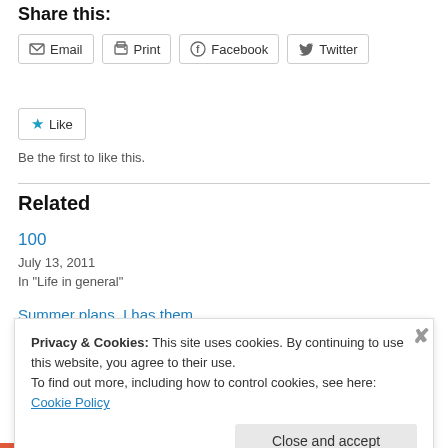Share this:
Email
Print
Facebook
Twitter
Like
Be the first to like this.
Related
100
July 13, 2011
In "Life in general"
Summer plans. I has them.
Privacy & Cookies: This site uses cookies. By continuing to use this website, you agree to their use.
To find out more, including how to control cookies, see here: Cookie Policy
Close and accept